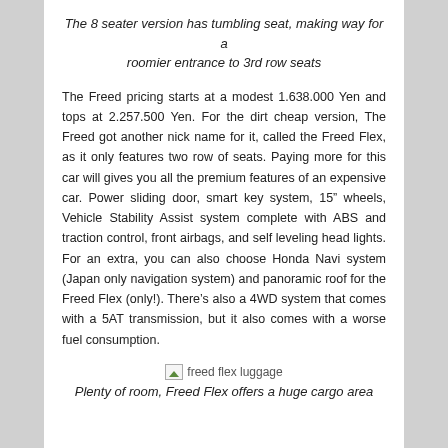The 8 seater version has tumbling seat, making way for a roomier entrance to 3rd row seats
The Freed pricing starts at a modest 1.638.000 Yen and tops at 2.257.500 Yen. For the dirt cheap version, The Freed got another nick name for it, called the Freed Flex, as it only features two row of seats. Paying more for this car will gives you all the premium features of an expensive car. Power sliding door, smart key system, 15″ wheels, Vehicle Stability Assist system complete with ABS and traction control, front airbags, and self leveling head lights. For an extra, you can also choose Honda Navi system (Japan only navigation system) and panoramic roof for the Freed Flex (only!). There’s also a 4WD system that comes with a 5AT transmission, but it also comes with a worse fuel consumption.
[Figure (photo): freed flex luggage image placeholder]
Plenty of room, Freed Flex offers a huge cargo area